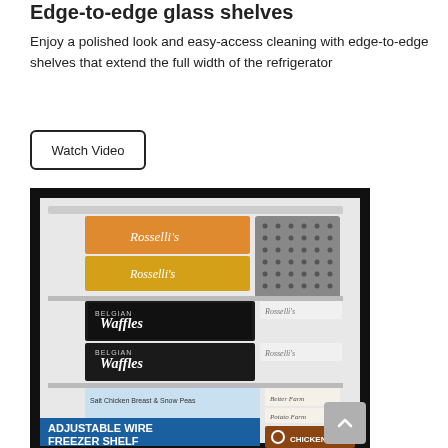Edge-to-edge glass shelves
Enjoy a polished look and easy-access cleaning with edge-to-edge shelves that extend the full width of the refrigerator
[Figure (screenshot): Button labeled Watch Video with a rounded rectangle border]
[Figure (photo): Photo of the interior of a refrigerator/freezer showing Rosselli's brand food boxes and Belgian Waffles packages on glass shelves, with a blue banner at the bottom reading ADJUSTABLE WIRE FREEZER SHELF]